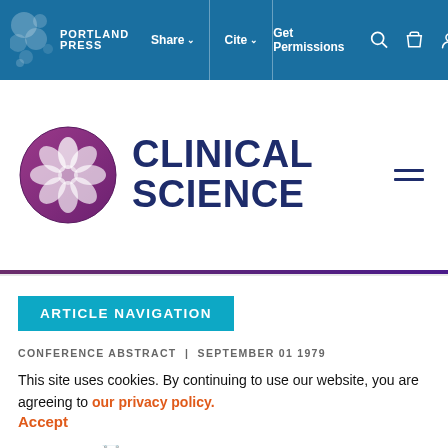Share | Cite | Get Permissions
[Figure (logo): Portland Press logo with circular blue/grey bubble icons and text PORTLAND PRESS]
CLINICAL SCIENCE
ARTICLE NAVIGATION
CONFERENCE ABSTRACT | SEPTEMBER 01 1979
Isolation and Characterization of Gut
This site uses cookies. By continuing to use our website, you are agreeing to our privacy policy. Accept